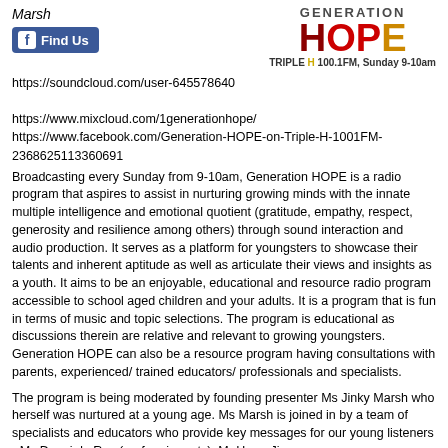Marsh
[Figure (logo): Generation HOPE radio logo with colorful text and TRIPLE H 100.1FM, Sunday 9-10am tagline]
https://soundcloud.com/user-645578640

https://www.mixcloud.com/1generationhope/
https://www.facebook.com/Generation-HOPE-on-Triple-H-1001FM-2368625113360691
Broadcasting every Sunday from 9-10am, Generation HOPE is a radio program that aspires to assist in nurturing growing minds with the innate multiple intelligence and emotional quotient (gratitude, empathy, respect, generosity and resilience among others) through sound interaction and audio production. It serves as a platform for youngsters to showcase their talents and inherent aptitude as well as articulate their views and insights as a youth. It aims to be an enjoyable, educational and resource radio program accessible to school aged children and your adults. It is a program that is fun in terms of music and topic selections. The program is educational as discussions therein are relative and relevant to growing youngsters. Generation HOPE can also be a resource program having consultations with parents, experienced/ trained educators/ professionals and specialists.
The program is being moderated by founding presenter Ms Jinky Marsh who herself was nurtured at a young age. Ms Marsh is joined in by a team of specialists and educators who provide key messages for our young listeners - Ms Danni da Ros (performing arts), Mr Harry Jing (music/entertainment/education) and Ms Ola Agha-Eze (health and diet...